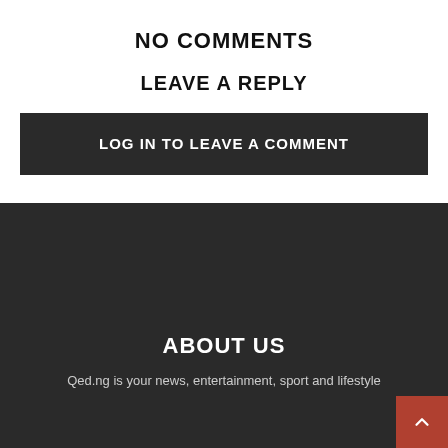NO COMMENTS
LEAVE A REPLY
LOG IN TO LEAVE A COMMENT
ABOUT US
Qed.ng is your news, entertainment, sport and lifestyle